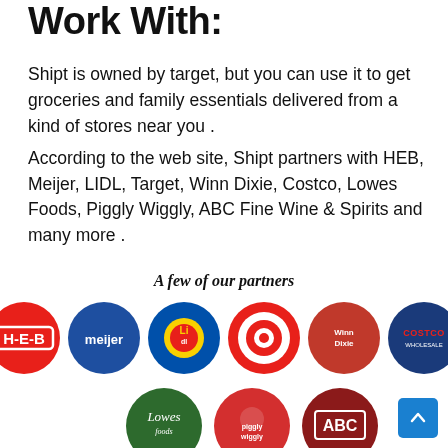Work With:
Shipt is owned by target, but you can use it to get groceries and family essentials delivered from a kind of stores near you .
According to the web site, Shipt partners with HEB, Meijer, LIDL, Target, Winn Dixie, Costco, Lowes Foods, Piggly Wiggly, ABC Fine Wine & Spirits and many more .
A few of our partners
[Figure (logo): Six partner brand logos in circles: HEB (red), Meijer (blue), LIDL (blue/yellow), Target (red/white), Winn Dixie (red), Costco (blue)]
[Figure (logo): Three partner brand logos in circles: Lowes Foods (dark green), Piggly Wiggly (red), ABC (dark red)]